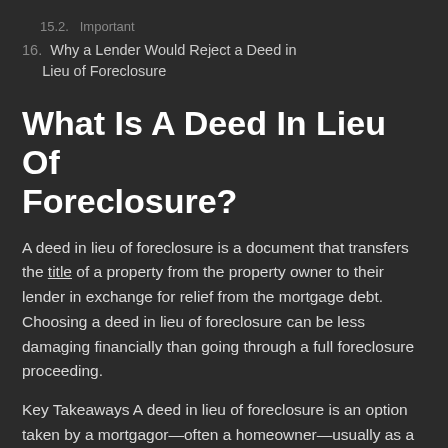15.2. Important
16. Why a Lender Would Reject a Deed in Lieu of Foreclosure
What Is A Deed In Lieu Of Foreclosure?
A deed in lieu of foreclosure is a document that transfers the title of a property from the property owner to their lender in exchange for relief from the mortgage debt. Choosing a deed in lieu of foreclosure can be less damaging financially than going through a full foreclosure proceeding.
Key Takeaways A deed in lieu of foreclosure is an option taken by a mortgagor—often a homeowner—usually as a means of avoiding foreclosure.It is a step